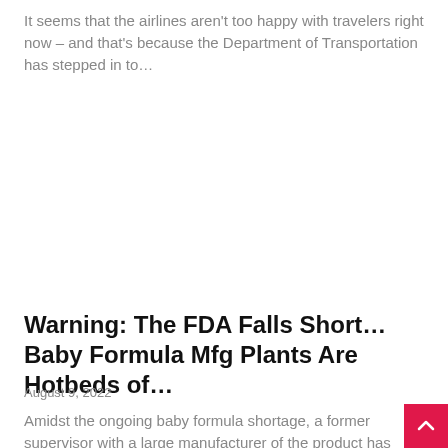It seems that the airlines aren't too happy with travelers right now – and that's because the Department of Transportation has stepped in to…
Warning: The FDA Falls Short…Baby Formula Mfg Plants Are Hotbeds of…
August 9, 2022
Amidst the ongoing baby formula shortage, a former supervisor with a large manufacturer of the product has